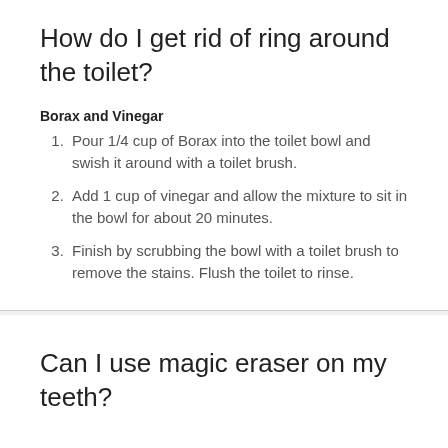How do I get rid of ring around the toilet?
Borax and Vinegar
Pour 1/4 cup of Borax into the toilet bowl and swish it around with a toilet brush.
Add 1 cup of vinegar and allow the mixture to sit in the bowl for about 20 minutes.
Finish by scrubbing the bowl with a toilet brush to remove the stains. Flush the toilet to rinse.
Can I use magic eraser on my teeth?